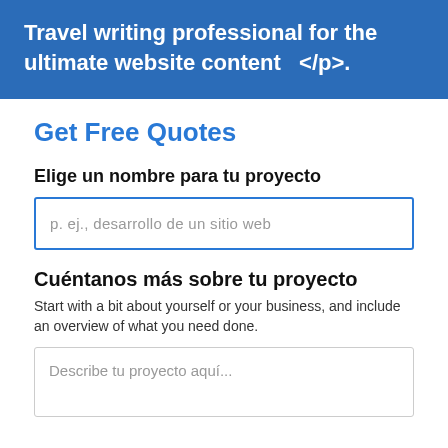Travel writing professional for the ultimate website content </p>.
Get Free Quotes
Elige un nombre para tu proyecto
p. ej., desarrollo de un sitio web
Cuéntanos más sobre tu proyecto
Start with a bit about yourself or your business, and include an overview of what you need done.
Describe tu proyecto aquí...